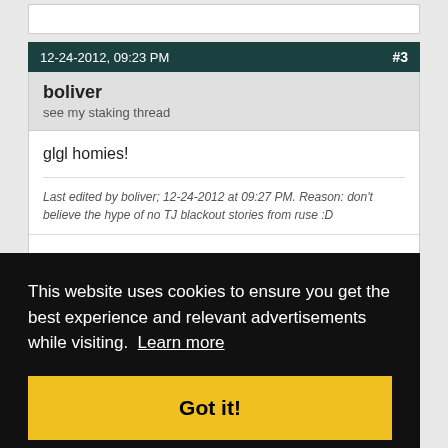12-24-2012, 09:23 PM
#3
boliver
see my staking thread
glgl homies!
Last edited by boliver; 12-24-2012 at 09:27 PM. Reason: don't believe the hype of no TJ blackout stories from ruse :D
#4
This website uses cookies to ensure you get the best experience and relevant advertisements while visiting. Learn more
Got it!